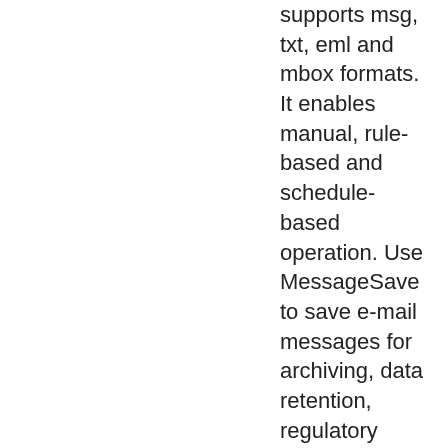supports msg, txt, eml and mbox formats. It enables manual, rule-based and schedule-based operation. Use MessageSave to save e-mail messages for archiving, data retention, regulatory compliance, document management, backup, email sharing and exporting Outlook email